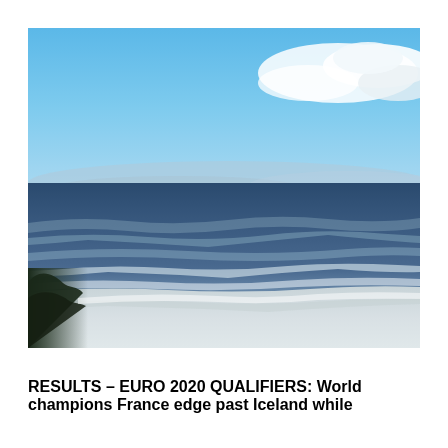[Figure (photo): Coastal beach scene viewed from above, showing blue sky with white clouds in upper portion, dark blue ocean waves in the middle, and sandy beach with foam in the lower portion. The scene has a slightly desaturated, cool-toned appearance.]
RESULTS - EURO 2020 QUALIFIERS: World champions France edge past Iceland while